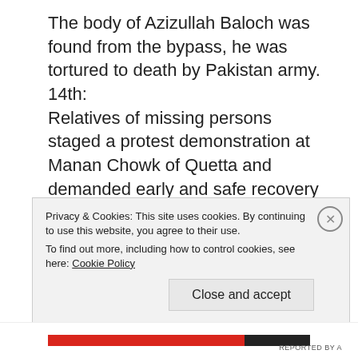The body of Azizullah Baloch was found from the bypass, he was tortured to death by Pakistan army.
14th:
Relatives of missing persons staged a protest demonstration at Manan Chowk of Quetta and demanded early and safe recovery of the abducted Balochs.
18th:
Sardar Nadel Jan Ghichki shot dead by Pakistan's secret agencies.
19th:
Zaman Khan Marri abducted from Quetta and Tahir
Privacy & Cookies: This site uses cookies. By continuing to use this website, you agree to their use.
To find out more, including how to control cookies, see here: Cookie Policy
Close and accept